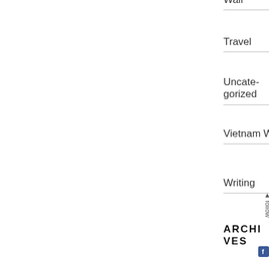Wall
Travel
Uncategorized
Vietnam War
Writing
ARCHIVES
February 2021 (1)